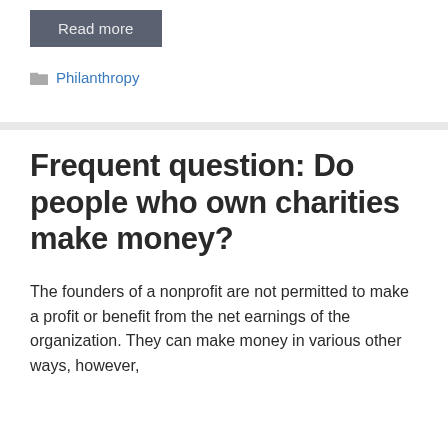[Figure (other): A dark grey 'Read more' button]
Philanthropy
Frequent question: Do people who own charities make money?
The founders of a nonprofit are not permitted to make a profit or benefit from the net earnings of the organization. They can make money in various other ways, however,